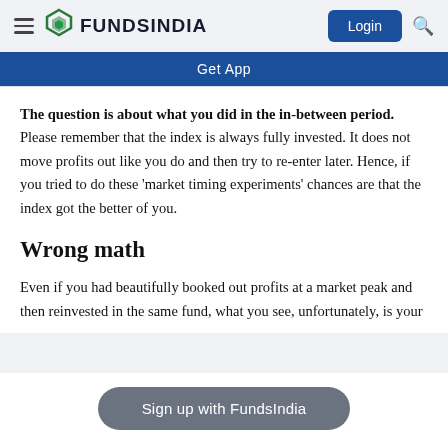FundsIndia — Login
Get App
The question is about what you did in the in-between period. Please remember that the index is always fully invested. It does not move profits out like you do and then try to re-enter later. Hence, if you tried to do these 'market timing experiments' chances are that the index got the better of you.
Wrong math
Even if you had beautifully booked out profits at a market peak and then reinvested in the same fund, what you see, unfortunately, is your
Sign up with FundsIndia